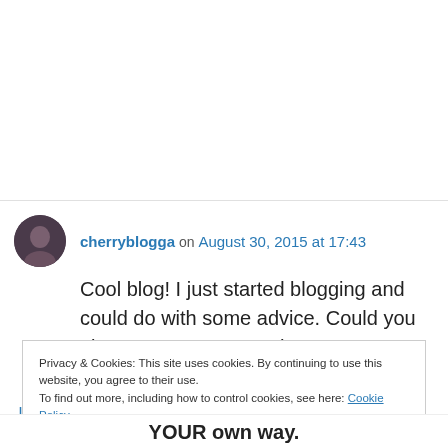cherryblogga on August 30, 2015 at 17:43
Cool blog! I just started blogging and could do with some advice. Could you give me some cause I haven't got a clue!
↳ Reply
Privacy & Cookies: This site uses cookies. By continuing to use this website, you agree to their use. To find out more, including how to control cookies, see here: Cookie Policy
Close and accept
YOUR own way.